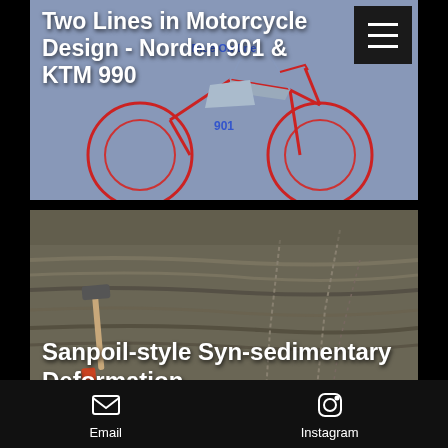[Figure (screenshot): Motorcycle outline drawing – blue and red line art of a motorcycle side view on grey-blue background, with 'Blue Outline 901' label visible]
Two Lines in Motorcycle Design - Norden 901 & KTM 990
[Figure (photo): Rock outcrop photo showing layered sedimentary rock with a geological hammer for scale, illustrating syn-sedimentary deformation structures]
Sanpoil-style Syn-sedimentary Deformation
[Figure (map): Satellite/aerial map view of a rural area near Bonnington, ID with grid lines and labels including 'Preuss Range']
Linear Surface Anomalies at Bonnington, ID
Email   Instagram